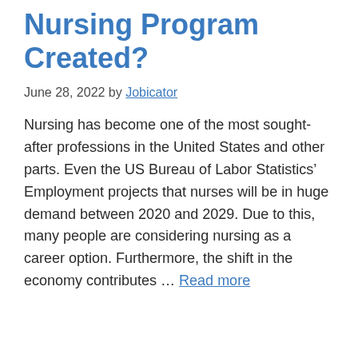Nursing Program Created?
June 28, 2022 by Jobicator
Nursing has become one of the most sought-after professions in the United States and other parts. Even the US Bureau of Labor Statistics’ Employment projects that nurses will be in huge demand between 2020 and 2029. Due to this, many people are considering nursing as a career option. Furthermore, the shift in the economy contributes … Read more